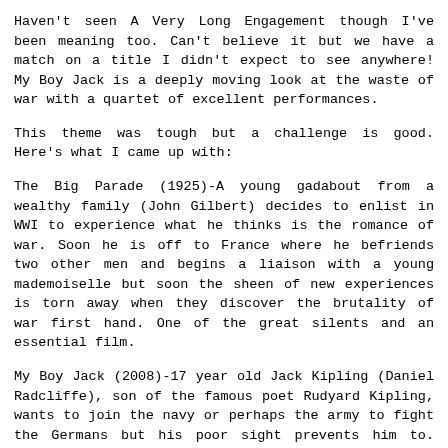Haven't seen A Very Long Engagement though I've been meaning too. Can't believe it but we have a match on a title I didn't expect to see anywhere! My Boy Jack is a deeply moving look at the waste of war with a quartet of excellent performances.
This theme was tough but a challenge is good. Here's what I came up with:
The Big Parade (1925)-A young gadabout from a wealthy family (John Gilbert) decides to enlist in WWI to experience what he thinks is the romance of war. Soon he is off to France where he befriends two other men and begins a liaison with a young mademoiselle but soon the sheen of new experiences is torn away when they discover the brutality of war first hand. One of the great silents and an essential film.
My Boy Jack (2008)-17 year old Jack Kipling (Daniel Radcliffe), son of the famous poet Rudyard Kipling, wants to join the navy or perhaps the army to fight the Germans but his poor sight prevents him to. Rudyard uses his...